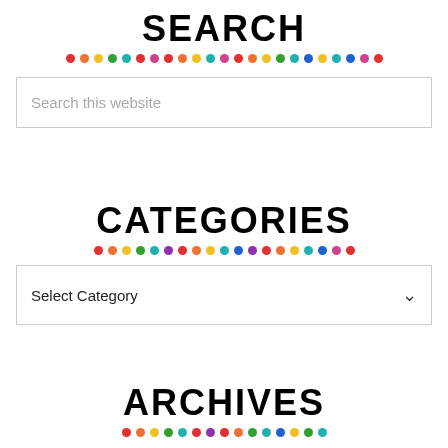SEARCH
[Figure (infographic): Row of colorful dots in repeating pattern: red, orange, yellow, green, teal, blue, purple, red, orange, yellow, teal, purple, red, orange, yellow, green, teal, blue, yellow, teal, blue, purple, red]
Search this website
CATEGORIES
[Figure (infographic): Row of colorful dots in repeating pattern]
Select Category
ARCHIVES
[Figure (infographic): Row of colorful dots in repeating pattern]